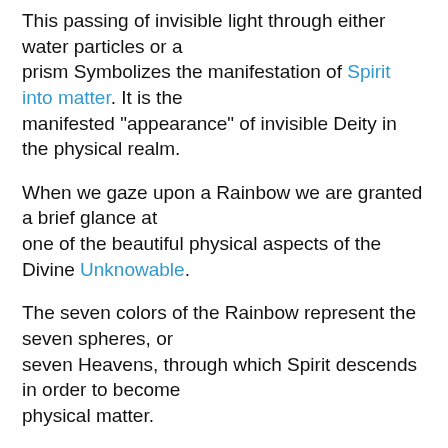This passing of invisible light through either water particles or a prism Symbolizes the manifestation of Spirit into matter. It is the manifested "appearance" of invisible Deity in the physical realm.
When we gaze upon a Rainbow we are granted a brief glance at one of the beautiful physical aspects of the Divine Unknowable.
The seven colors of the Rainbow represent the seven spheres, or seven Heavens, through which Spirit descends in order to become physical matter.
The seven colors of the Rainbow are also the colors associated with the seven Chakras. From base to crown, the seven colors of